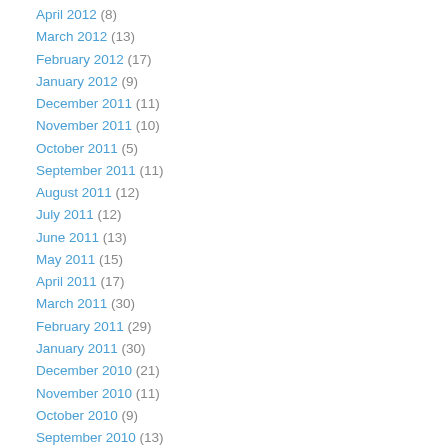April 2012 (8)
March 2012 (13)
February 2012 (17)
January 2012 (9)
December 2011 (11)
November 2011 (10)
October 2011 (5)
September 2011 (11)
August 2011 (12)
July 2011 (12)
June 2011 (13)
May 2011 (15)
April 2011 (17)
March 2011 (30)
February 2011 (29)
January 2011 (30)
December 2010 (21)
November 2010 (11)
October 2010 (9)
September 2010 (13)